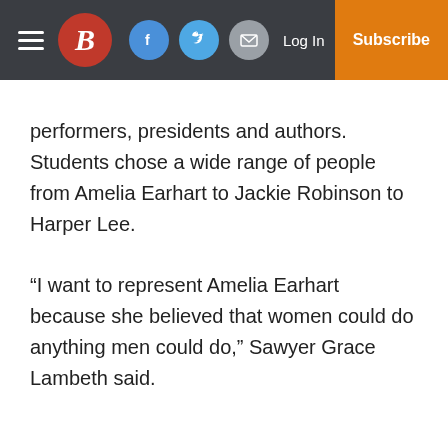B [Boston Globe logo] | Facebook | Twitter | Mail | Log In | Subscribe
performers, presidents and authors. Students chose a wide range of people from Amelia Earhart to Jackie Robinson to Harper Lee.
“I want to represent Amelia Earhart because she believed that women could do anything men could do,” Sawyer Grace Lambeth said.